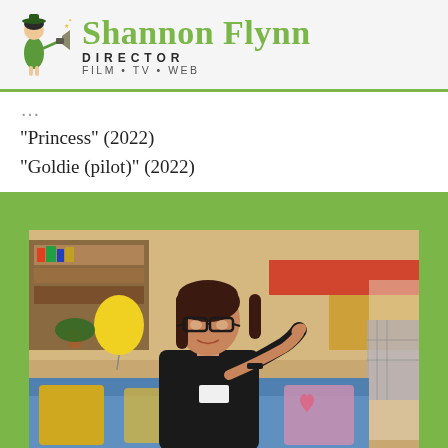Shannon Flynn DIRECTOR FILM • TV • WEB
“Princess” (2022)
“Goldie (pilot)” (2022)
[Figure (photo): Woman with dark hair and glasses wearing black, pointing toward camera with index finger, in a colorful room setting with blue sofa and yellow pillows in background.]